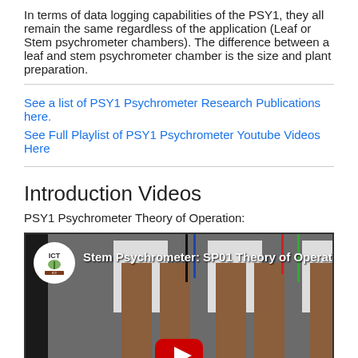In terms of data logging capabilities of the PSY1, they all remain the same regardless of the application (Leaf or Stem psychrometer chambers). The difference between a leaf and stem psychrometer chamber is the size and plant preparation.
See a list of PSY1 Psychrometer Research Publications here.
See Full Playlist of PSY1 Psychrometer Youtube Videos Here
Introduction Videos
PSY1 Psychrometer Theory of Operation:
[Figure (screenshot): YouTube video thumbnail showing 'Stem Psychrometer: SP01 Theory of Operation' with ICT logo, brown pillar structures on grey background, and red YouTube play button]